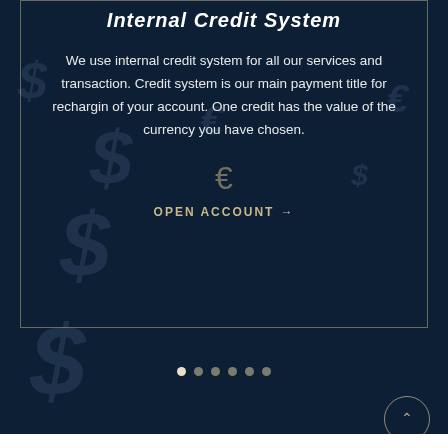Internal Credit System
We use internal credit system for all our services and transaction. Credit system is our main payment title for rechargin of your account. One credit has the value of the currency you have chosen.
OPEN ACCOUNT →